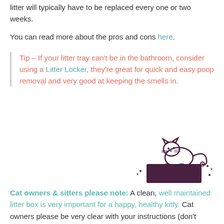litter will typically have to be replaced every one or two weeks.
You can read more about the pros and cons here.
Tip – If your litter tray can't be in the bathroom, consider using a Litter Locker, they're great for quick and easy poop removal and very good at keeping the smells in.
[Figure (illustration): A cartoon cat sitting on top of a dark brown/maroon litter box, with small dots around it suggesting litter particles.]
Cat owners & sitters please note: A clean, well maintained litter box is very important for a happy, healthy kitty. Cat owners please be very clear with your instructions (don't assume the cat sitter knows your cleaning routine), and make sure you have plenty of litter so it doesn't run out while you're away. Sitters, please follow